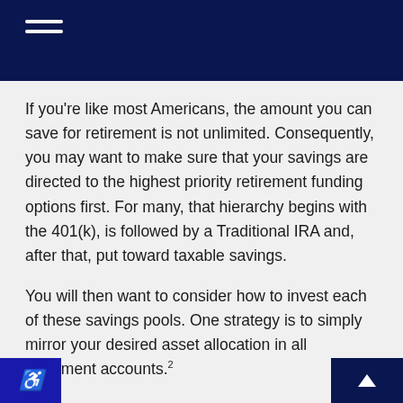If you’re like most Americans, the amount you can save for retirement is not unlimited. Consequently, you may want to make sure that your savings are directed to the highest priority retirement funding options first. For many, that hierarchy begins with the 401(k), is followed by a Traditional IRA and, after that, put toward taxable savings.
You will then want to consider how to invest each of these savings pools. One strategy is to simply mirror your desired asset allocation in all retirement accounts.²
Another approach is to put the income-generating portion of the allocation, such as bonds, into tax-deferred accounts, while using taxable accounts to invest in assets whose gains come from capital appreciation, like stocks.³